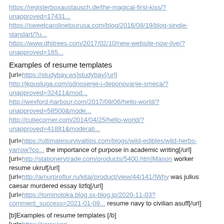https://registerboxaustausch.de/the-magical-first-kiss/?unapproved=17431...
https://sweetcarolinetourusa.com/blog/2016/08/19/blog-single-standart/?u...
https://www.dhjtrees.com/2017/02/10/new-website-now-live/?unapproved=165...
Examples of resume templates
[url=https://studybay.ws]studybay[/url]
http://jkpusluga.com/odnosenje-i-deponovanje-smeca/?unapproved=32411&mod...
http://wexford-harbour.com/2017/09/06/hello-world/?unapproved=58500&mode...
http://cutiecorner.com/2014/04/25/hello-world/?unapproved=41881&moderati...
[url=https://ultimatesurvivaltips.com/blogs/wild-edibles/wild-herbs-yarrow?co... the importance of purpose in academic writing[/url]
[url=http://stationerytrade.com/products/5400.htm]Mason worker resume ukruf[/url]
[url=http://amurproftur.ru/kitaj/product/view/44/141/]Why was julius caesar murdered essay lizfq[/url]
[url=https://tominotoka.blog.ss-blog.jp/2020-11-03?comment_success=2021-01-09... resume navy to civilian asuff[/url]
[b]Examples of resume templates [/b]
[url=https://www.kari-bra.de/admidio/adm_program/modules/guestbook/guestbook.... dissertation ghostwriter services au xomgi[/url]
[url=http://singimmanuel.org.uk/index.php/blog/185/]Navy seals research paper - Les paques a new york blaise cendrars resume zsysg 2021[/url]
[url=http://singimmanuel.org.uk/index.php/blog/186/]Best thesis...